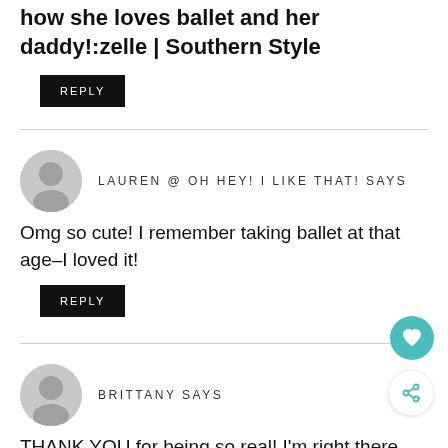how she loves ballet and her daddy!:zelle | Southern Style
REPLY
LAUREN @ OH HEY! I LIKE THAT! SAYS
Omg so cute! I remember taking ballet at that age–I loved it!
REPLY
BRITTANY SAYS
THANK YOU for being so real! I'm right there